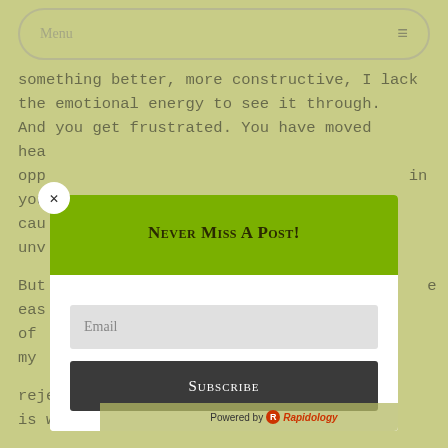Menu ≡
something better, more constructive, I lack the emotional energy to see it through. And you get frustrated. You have moved hea... opp... in you... cau... unv...
[Figure (screenshot): Email subscription modal popup with green header 'Never Miss A Post!', email input field, and Subscribe button. Overlaid on blog article text about emotional energy and rejection.]
But... e eas... of my... rejection works. What you already know is what's easiest right? Stick with what...
Powered by Rapidology